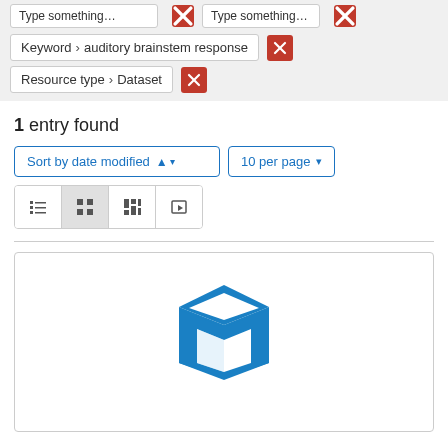Keyword › auditory brainstem response ×
Resource type › Dataset ×
1 entry found
Sort by date modified ▲ ▾
10 per page ▾
[Figure (other): Blue 3D open box / dataset icon representing a dataset record in search results]
View icons: list, grid, masonry, slideshow